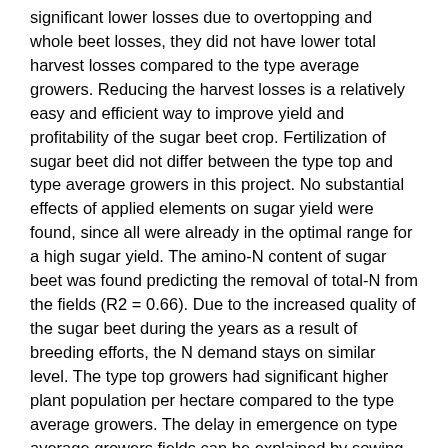significant lower losses due to overtopping and whole beet losses, they did not have lower total harvest losses compared to the type average growers. Reducing the harvest losses is a relatively easy and efficient way to improve yield and profitability of the sugar beet crop. Fertilization of sugar beet did not differ between the type top and type average growers in this project. No substantial effects of applied elements on sugar yield were found, since all were already in the optimal range for a high sugar yield. The amino-N content of sugar beet was found predicting the removal of total-N from the fields (R2 = 0.66). Due to the increased quality of the sugar beet during the years as a result of breeding efforts, the N demand stays on similar level. The type top growers had significant higher plant population per hectare compared to the type average growers. The delay in emergence on type average growers fields can be explained by sowing quality and sowing date. Sowing quality from this project comes to seed placement in compressed (below the loose seedbed) and in humid soil (not dried by the weather), which are closely related. The type top growers place significantly more seeds in humid soil, providing more optimal circumstances for the seeds to germinate and being less dependent on rainfall after sowing. Here, the grower s management is of major importance, for using a properly maintained sowing machine, for preparing a high quality seedbed and for choosing the most optimal sowing date.